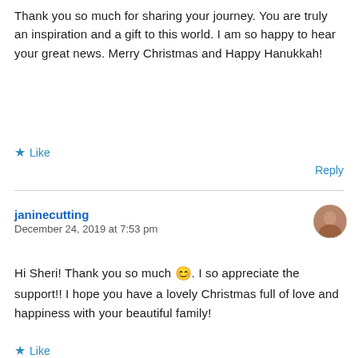Thank you so much for sharing your journey. You are truly an inspiration and a gift to this world. I am so happy to hear your great news. Merry Christmas and Happy Hanukkah!
★ Like
Reply
janinecutting
December 24, 2019 at 7:53 pm
Hi Sheri! Thank you so much 😊. I so appreciate the support!! I hope you have a lovely Christmas full of love and happiness with your beautiful family!
★ Like